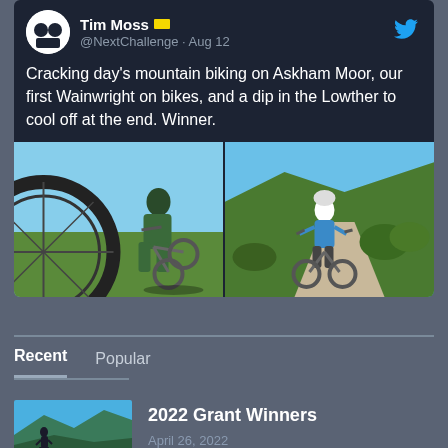[Figure (screenshot): Tweet from Tim Moss (@NextChallenge) dated Aug 12 with two mountain biking photos on a dark background]
Cracking day's mountain biking on Askham Moor, our first Wainwright on bikes, and a dip in the Lowther to cool off at the end. Winner.
Recent	Popular
[Figure (photo): Thumbnail photo of a hiker on a mountain ridge against blue sky]
2022 Grant Winners
April 26, 2022